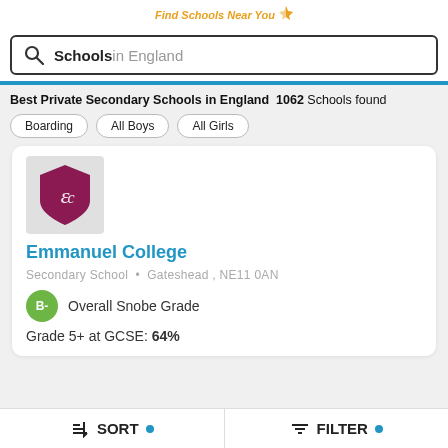Find Schools Near You
Schools in England
Best Private Secondary Schools in England  1062 Schools found
Boarding
All Boys
All Girls
[Figure (logo): Emmanuel College shield logo, dark red/maroon with 'EC' monogram]
Emmanuel College
Secondary School • Gateshead , NE11 0AN
B- Overall Snobe Grade
Grade 5+ at GCSE: 64%
SORT   FILTER